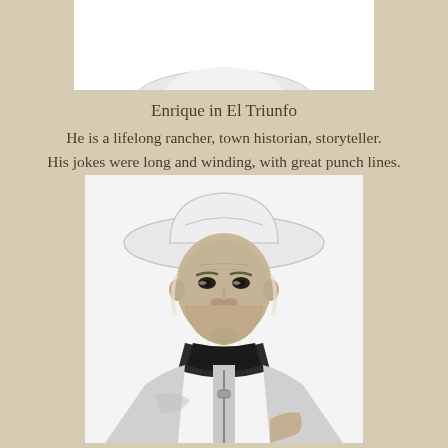[Figure (photo): Top portion of a black-and-white photograph of an elderly man wearing a white cowboy hat, partially visible at the top of the page.]
Enrique in El Triunfo
He is a lifelong rancher, town historian, storyteller.
His jokes were long and winding, with great punch lines.
[Figure (photo): Black-and-white portrait photograph of an elderly man (Enrique) wearing a white cowboy hat and a zip-up jacket with a dark scarf or bandana around his neck. He gazes directly at the camera with a weathered, dignified expression.]